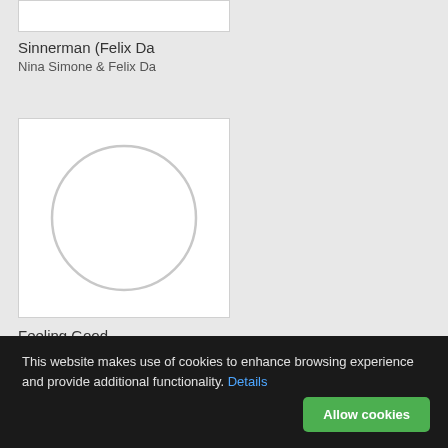[Figure (illustration): White album art card partially visible at top]
Sinnerman (Felix Da
Nina Simone & Felix Da
[Figure (illustration): White album art card with a light grey circle outline centered inside]
Feeling Good
Nina Simone
This website makes use of cookies to enhance browsing experience and provide additional functionality. Details
Allow cookies